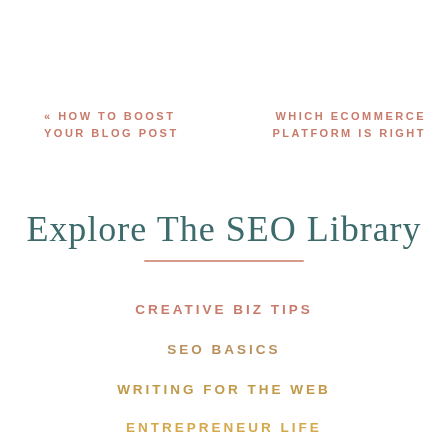« HOW TO BOOST YOUR BLOG POST
WHICH ECOMMERCE PLATFORM IS RIGHT
Explore The SEO Library
CREATIVE BIZ TIPS
SEO BASICS
WRITING FOR THE WEB
ENTREPRENEUR LIFE